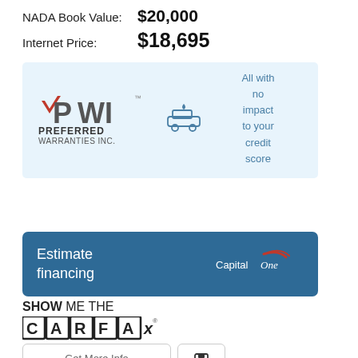NADA Book Value: $20,000
Internet Price: $18,695
[Figure (logo): PWI Preferred Warranties Inc. logo with car icon, and text 'All with no impact to your credit score']
[Figure (infographic): Estimate financing button with Capital One logo]
[Figure (logo): Show Me the CARFAX logo with link 'View the CARFAX Report']
Get More Info
Save icon button